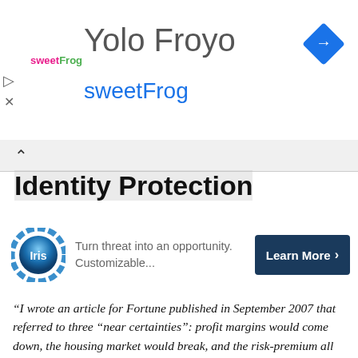[Figure (screenshot): Advertisement banner for Yolo Froyo / sweetFrog with logo, text, and navigation diamond icon]
Identity Protection
[Figure (screenshot): Iris identity protection ad with logo, tagline 'Turn threat into an opportunity. Customizable...' and Learn More button]
“I wrote an article for Fortune published in September 2007 that referred to three “near certainties”: profit margins would come down, the housing market would break, and the risk-premium all over the world would widen, each with severe consequences. You can perhaps only have that degree of confidence if you have been to